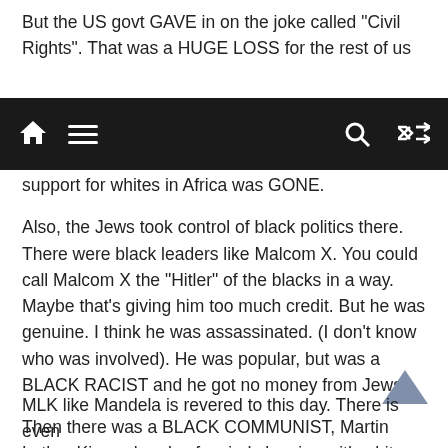But the US govt GAVE in on the joke called “Civil Rights”. That was a HUGE LOSS for the rest of us
[navigation bar with home, menu, search, shuffle icons]
support for whites in Africa was GONE.
Also, the Jews took control of black politics there. There were black leaders like Malcom X. You could call Malcom X the “Hitler” of the blacks in a way. Maybe that’s giving him too much credit. But he was genuine. I think he was assassinated. (I don’t know who was involved). He was popular, but was a BLACK RACIST and he got no money from Jews.
Then there was a BLACK COMMUNIST, Martin Luther King, who also fancied sleeping with white women. The Jews loved him and MLK became the Nelson Mandela of the USA.
MLK like Mandela is revered to this day. There is even